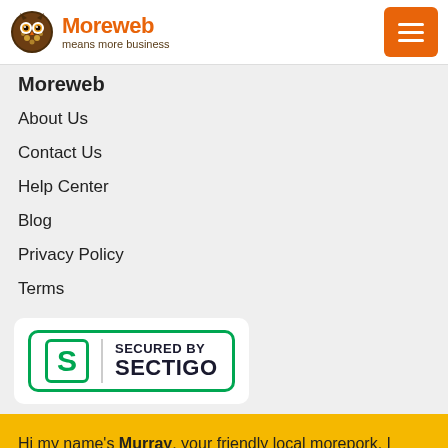Moreweb — means more business
Moreweb
About Us
Contact Us
Help Center
Blog
Privacy Policy
Terms
[Figure (logo): Secured by Sectigo badge — green S logo and text]
Hi my name's Murray, your friendly local morepork. I keep an eye on things here at MOREWEB HQ, and I'm here to help you with all your digital needs. It's not all work though I know how to have fun, some say I'm the life of the party… a real hoot if you know what I